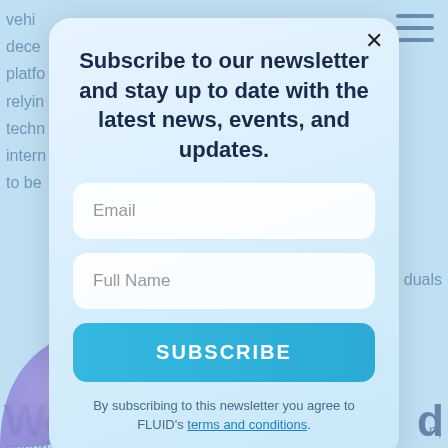vehi... decem... platfo... relyin... techn... intern... duals to be
Thank... securi... ons in how u... intern... dApp... sk of block... t-in via the... ork. Addit... op, as long a...
Subscribe to our newsletter and stay up to date with the latest news, events, and updates.
Email
Full Name
SUBSCRIBE
By subscribing to this newsletter you agree to FLUID's terms and conditions.
We... d